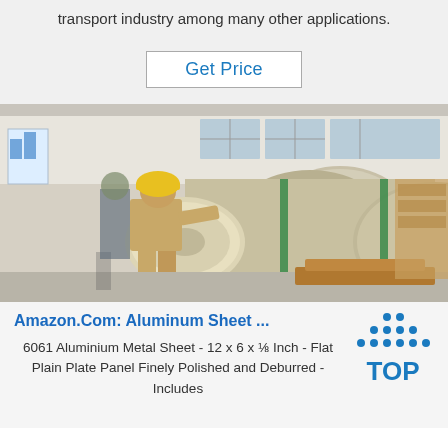transport industry among many other applications.
[Figure (other): A 'Get Price' button with border, blue text on white background]
[Figure (photo): Worker in yellow hard hat handling a large aluminum roll/coil in an industrial warehouse setting]
Amazon.Com: Aluminum Sheet ...
6061 Aluminium Metal Sheet - 12 x 6 x ⅛ Inch - Flat Plain Plate Panel Finely Polished and Deburred - Includes
[Figure (logo): TOP logo with blue dot pattern arranged in triangle/arc above bold blue TOP text]